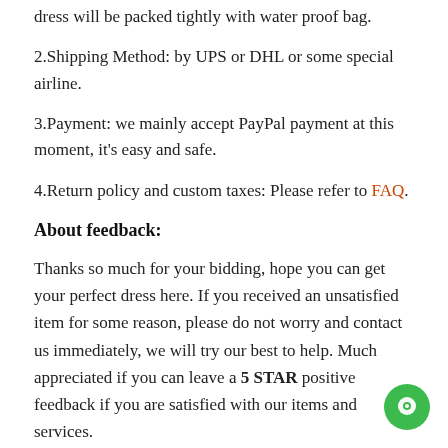dress will be packed tightly with water proof bag.
2.Shipping Method: by UPS or DHL or some special airline.
3.Payment: we mainly accept PayPal payment at this moment, it's easy and safe.
4.Return policy and custom taxes: Please refer to FAQ.
About feedback:
Thanks so much for your bidding, hope you can get your perfect dress here. If you received an unsatisfied item for some reason, please do not worry and contact us immediately, we will try our best to help. Much appreciated if you can leave a 5 STAR positive feedback if you are satisfied with our items and services.
Share this Product